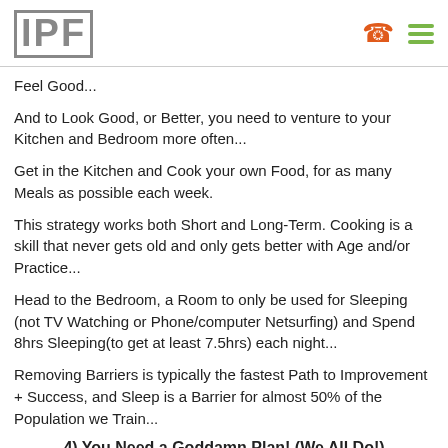IPF
Feel Good...
And to Look Good, or Better, you need to venture to your Kitchen and Bedroom more often...
Get in the Kitchen and Cook your own Food, for as many Meals as possible each week.
This strategy works both Short and Long-Term. Cooking is a skill that never gets old and only gets better with Age and/or Practice...
Head to the Bedroom, a Room to only be used for Sleeping (not TV Watching or Phone/computer Netsurfing) and Spend 8hrs Sleeping(to get at least 7.5hrs) each night...
Removing Barriers is typically the fastest Path to Improvement + Success, and Sleep is a Barrier for almost 50% of the Population we Train...
4) You Need a Goddamn Plan! (We All Do!)